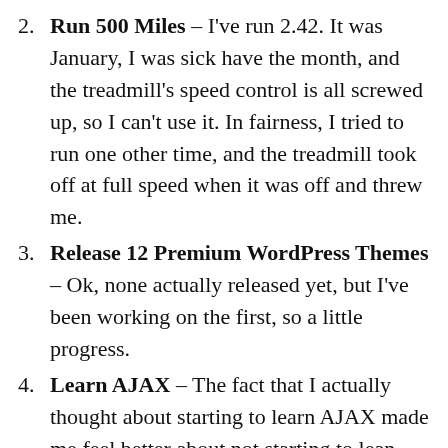Run 500 Miles – I've run 2.42. It was January, I was sick have the month, and the treadmill's speed control is all screwed up, so I can't use it. In fairness, I tried to run one other time, and the treadmill took off at full speed when it was off and threw me.
Release 12 Premium WordPress Themes – Ok, none actually released yet, but I've been working on the first, so a little progress.
Learn AJAX – The fact that I actually thought about starting to learn AJAX made me feel better about not starting to lean AJAX.
Try out Drupal – See #4, Learn AJAX.